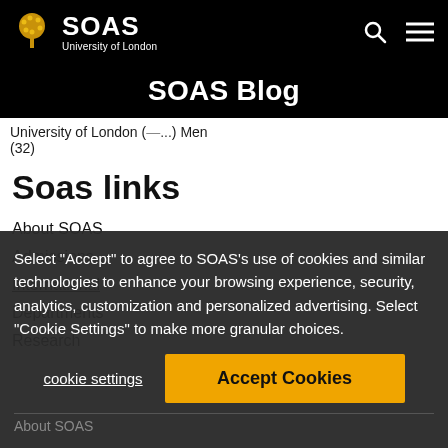SOAS University of London — SOAS Blog
SOAS Blog
University of London (...) Men (32)
Soas links
About SOAS
Admissions
International
Departments
Research
Select "Accept" to agree to SOAS's use of cookies and similar technologies to enhance your browsing experience, security, analytics, customization and personalized advertising. Select "Cookie Settings" to make more granular choices.
cookie settings
Accept Cookies
About SOAS